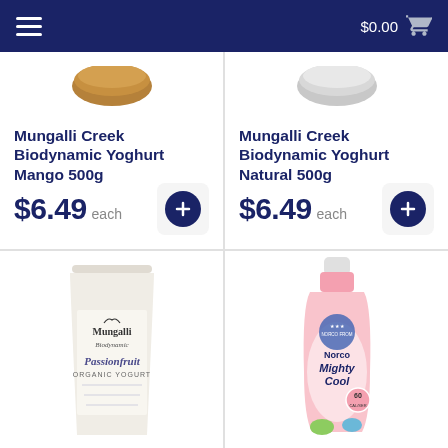$0.00
Mungalli Creek Biodynamic Yoghurt Mango 500g
$6.49 each
Mungalli Creek Biodynamic Yoghurt Natural 500g
$6.49 each
[Figure (photo): Partial top of Mungalli Creek Biodynamic Yoghurt Mango 500g container]
[Figure (photo): Partial top of Mungalli Creek Biodynamic Yoghurt Natural 500g container]
[Figure (photo): Mungalli Biodynamic Passionfruit Organic Yogurt tall cup container]
[Figure (photo): Norco Mighty Cool flavoured milk pink bottle]